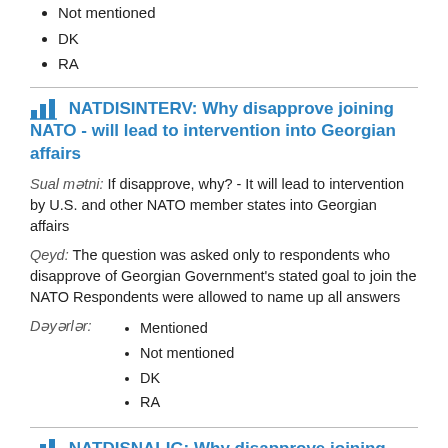Not mentioned
DK
RA
NATDISINTERV: Why disapprove joining NATO - will lead to intervention into Georgian affairs
Sual mətni: If disapprove, why? - It will lead to intervention by U.S. and other NATO member states into Georgian affairs
Qeyd: The question was asked only to respondents who disapprove of Georgian Government's stated goal to join the NATO Respondents were allowed to name up all answers
Mentioned
Not mentioned
DK
RA
NATDISNALIG: Why disapprove joining NATO - Georgia should not be aligned with any entity
Sual mətni: If disapprove, why? - Georgia should not be aligned